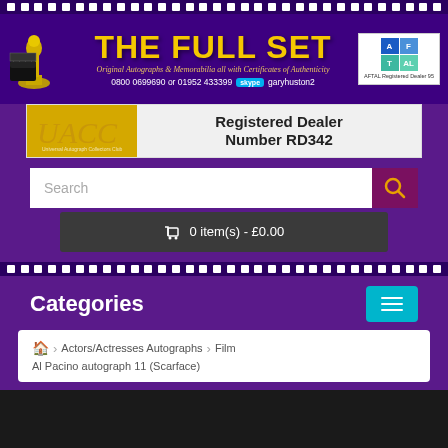THE FULL SET - Original Autographs & Memorabilia all with Certificates of Authenticity. 0800 0699690 or 01952 433399. Skype: garyhuston2. AFTAL Registered Dealer 95.
[Figure (screenshot): UACC banner showing logo and Registered Dealer Number RD342]
Search
0 item(s) - £0.00
Categories
Actors/Actresses Autographs > Film > Al Pacino autograph 11 (Scarface)